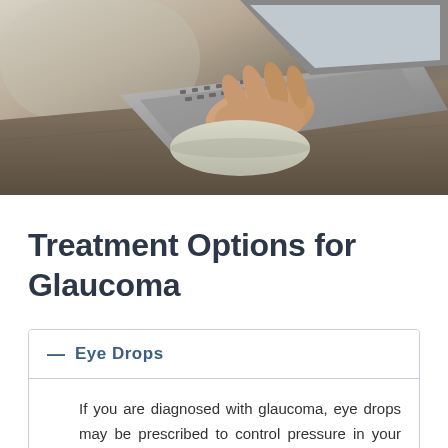[Figure (photo): Person's hand on a laptop keyboard resting on a wooden desk, viewed from above and slightly to the side. The person is wearing a light-colored long sleeve shirt.]
Treatment Options for Glaucoma
— Eye Drops
If you are diagnosed with glaucoma, eye drops may be prescribed to control pressure in your eye. Eye drops lower eye pressure, either by decreasing the